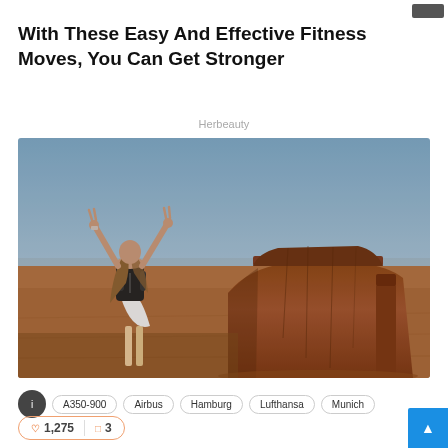With These Easy And Effective Fitness Moves, You Can Get Stronger
Herbeauty
[Figure (photo): Woman with backpack standing with arms raised in front of a large red rock butte in a desert landscape (Monument Valley style)]
A350-900  Airbus  Hamburg  Lufthansa  Munich
1,275  3